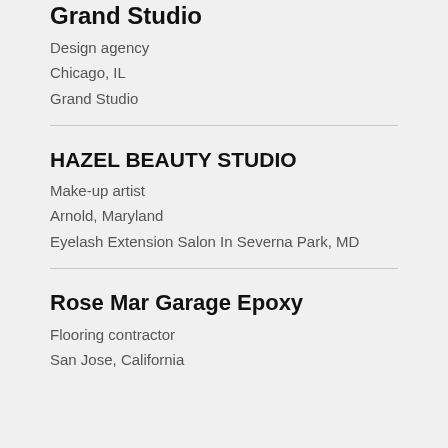Grand Studio
Design agency
Chicago, IL
Grand Studio
HAZEL BEAUTY STUDIO
Make-up artist
Arnold, Maryland
Eyelash Extension Salon In Severna Park, MD
Rose Mar Garage Epoxy
Flooring contractor
San Jose, California